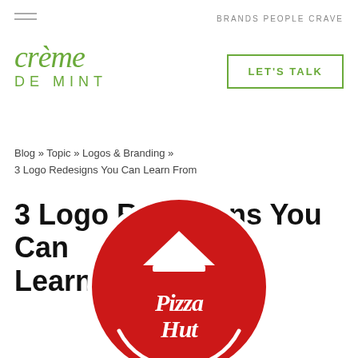BRANDS PEOPLE CRAVE
[Figure (logo): Crème de Mint logo in green italic serif and sans-serif text]
LET'S TALK
Blog » Topic » Logos & Branding » 3 Logo Redesigns You Can Learn From
3 Logo Redesigns You Can Learn From
[Figure (logo): Pizza Hut logo — red circular badge with white Pizza Hut script and hut icon]